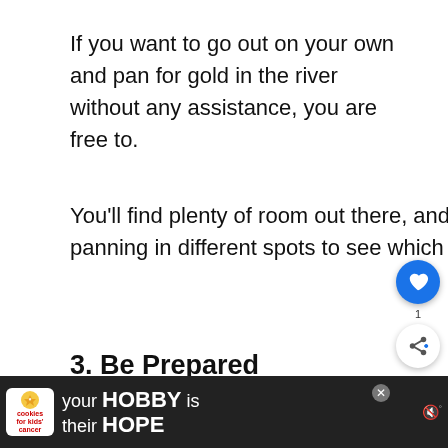If you want to go out on your own and pan for gold in the river without any assistance, you are free to.
You'll find plenty of room out there, and if you have enough time, you can experiment with panning in different spots to see which is best.
3. Be Prepared
For any outdoor activity, especially in
[Figure (other): Social interaction buttons: heart/like button (blue circle) with count 1, and share button (white circle)]
[Figure (other): What's Next widget showing Paisley Caves thumbnail and text 'WHAT'S NEXT → Paisley Caves (Oregon): 5...']
[Figure (other): Advertisement bar at bottom: cookies for kids cancer logo on left, text 'your HOBBY is their HOPE' in white on dark background, X close button, mute icon on right]